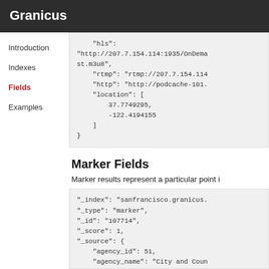Granicus
"hls": "http://207.7.154.114:1935/OnDemand/st.m3u8",
    "rtmp": "rtmp://207.7.154.114
    "http": "http://podcache-101.
    "location": [
        37.7749295,
        -122.4194155
    ]
}
Introduction
Indexes
Fields
Examples
Marker Fields
Marker results represent a particular point i
"_index": "sanfrancisco.granicus.
"_type": "marker",
"_id": "107714",
"_score": 1,
"_source": {
    "agency_id": 51,
    "agency_name": "City and Coun